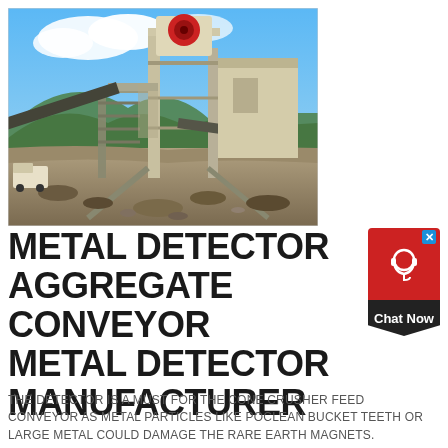[Figure (photo): Outdoor industrial mining/aggregate processing facility with large jaw crusher machinery, metal stairs and gantry, conveyor belts, and rocky terrain under a partly cloudy blue sky.]
METAL DETECTOR AGGREGATE CONVEYOR METAL DETECTOR MANUFACTURER
THE DETECTOR IS A MUST FOR THE CONE CRUSHER FEED CONVEYOR AS METAL PARTICLES LIKE POCLEAN BUCKET TEETH OR LARGE METAL COULD DAMAGE THE RARE EARTH MAGNETS.